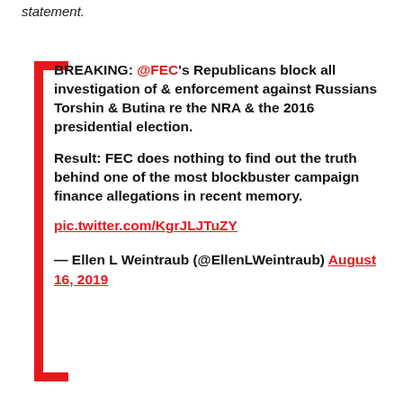statement.
BREAKING: @FEC's Republicans block all investigation of & enforcement against Russians Torshin & Butina re the NRA & the 2016 presidential election.

Result: FEC does nothing to find out the truth behind one of the most blockbuster campaign finance allegations in recent memory.
pic.twitter.com/KgrJLJTuZY

— Ellen L Weintraub (@EllenLWeintraub) August 16, 2019